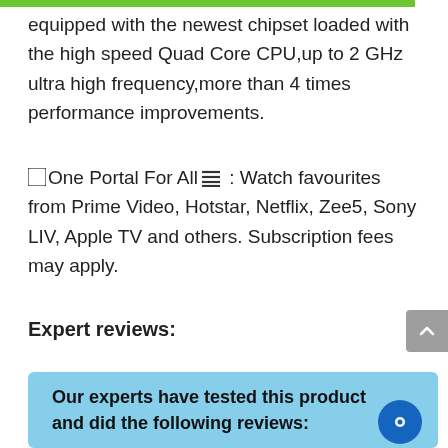equipped with the newest chipset loaded with the high speed Quad Core CPU,up to 2 GHz ultra high frequency,more than 4 times performance improvements.
🔲One Portal For All🔲 : Watch favourites from Prime Video, Hotstar, Netflix, Zee5, Sony LIV, Apple TV and others. Subscription fees may apply.
Expert reviews:
Our experts have tested this product and did the following reviews: